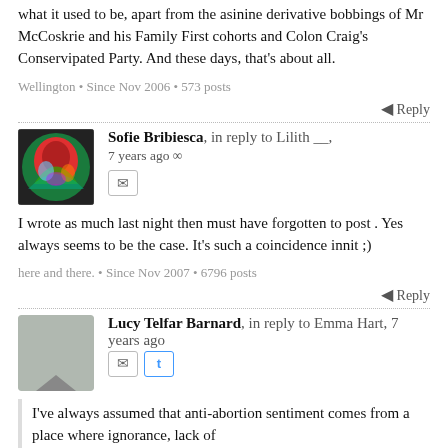what it used to be, apart from the asinine derivative bobbings of Mr McCoskrie and his Family First cohorts and Colon Craig's Conservipated Party. And these days, that's about all.
Wellington • Since Nov 2006 • 573 posts
Reply
Sofie Bribiesca, in reply to Lilith __, 7 years ago
I wrote as much last night then must have forgotten to post . Yes always seems to be the case. It's such a coincidence innit ;)
here and there. • Since Nov 2007 • 6796 posts
Reply
Lucy Telfar Barnard, in reply to Emma Hart, 7 years ago
I've always assumed that anti-abortion sentiment comes from a place where ignorance, lack of